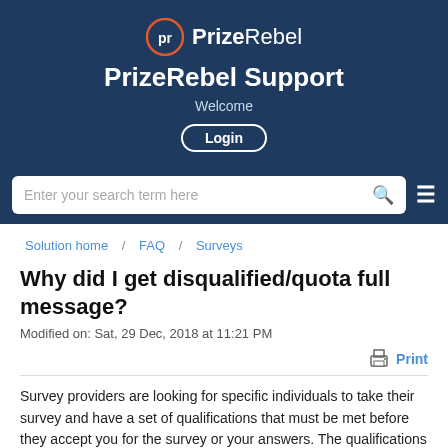PrizeRebel Support — Welcome
Solution home / FAQ / Surveys
Why did I get disqualified/quota full message?
Modified on: Sat, 29 Dec, 2018 at 11:21 PM
Print
Survey providers are looking for specific individuals to take their survey and have a set of qualifications that must be met before they accept you for the survey or your answers. The qualifications required are decided on by the survey provider per survey and we do not have any control over this on our end. Disqualification can happen at any point in the survey.